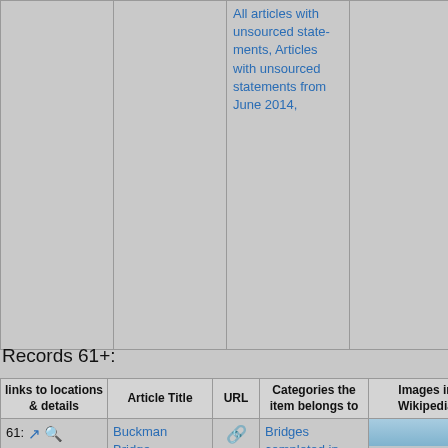|  |  | Categories the item belongs to | Images in Wikipedia |
| --- | --- | --- | --- |
|  |  | All articles with unsourced statements, Articles with unsourced statements from June 2014, |  |
Records 61+:
| links to locations & details | Article Title | URL | Categories the item belongs to | Images in Wikipedia |
| --- | --- | --- | --- | --- |
| 61: 13.9mi [icons] | Buckman Bridge | [link] | Bridges completed in 1970, Bridges completed in 1995, Bridges in Jacksonville, Florida, Interstate 95, Road bridges in Florida, Bridges over the St. Johns River, Bridges on the Interstate Highway... | [bridge image] |